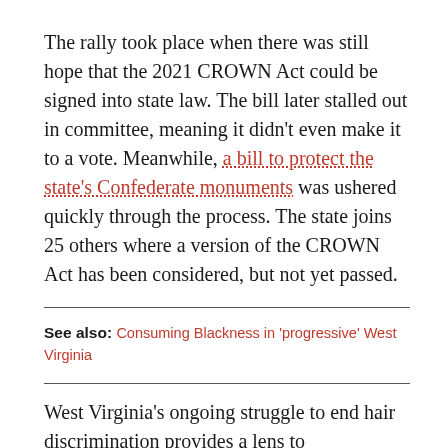The rally took place when there was still hope that the 2021 CROWN Act could be signed into state law. The bill later stalled out in committee, meaning it didn't even make it to a vote. Meanwhile, a bill to protect the state's Confederate monuments was ushered quickly through the process. The state joins 25 others where a version of the CROWN Act has been considered, but not yet passed.
See also: Consuming Blackness in 'progressive' West Virginia
West Virginia's ongoing struggle to end hair discrimination provides a lens to understanding white supremacy's deep conditioning and how natural hair as a policy issue touches the 65,925 Black people in West Virginia.